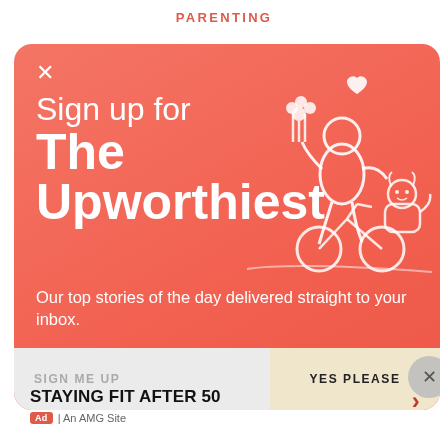PARENTING
[Figure (screenshot): Newsletter signup modal card with orange/coral gradient background. Shows 'Sign up for The Upworthiest' text with white line illustration of person on bicycle with flowers and a dog. Includes email signup input and 'YES PLEASE' button.]
STAYING FIT AFTER 50
Ad | An AMG Site